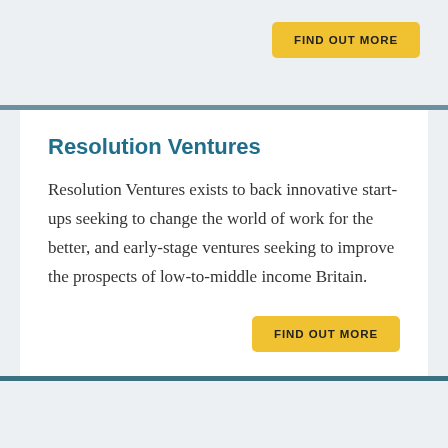FIND OUT MORE
Resolution Ventures
Resolution Ventures exists to back innovative start-ups seeking to change the world of work for the better, and early-stage ventures seeking to improve the prospects of low-to-middle income Britain.
FIND OUT MORE